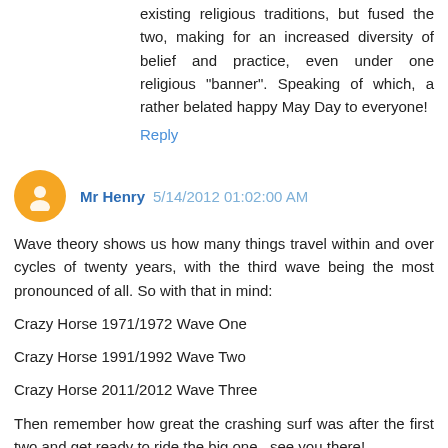existing religious traditions, but fused the two, making for an increased diversity of belief and practice, even under one religious "banner". Speaking of which, a rather belated happy May Day to everyone!
Reply
Mr Henry 5/14/2012 01:02:00 AM
Wave theory shows us how many things travel within and over cycles of twenty years, with the third wave being the most pronounced of all. So with that in mind:
Crazy Horse 1971/1972 Wave One
Crazy Horse 1991/1992 Wave Two
Crazy Horse 2011/2012 Wave Three
Then remember how great the crashing surf was after the first two and get ready to ride the big one...see you there!
Reply